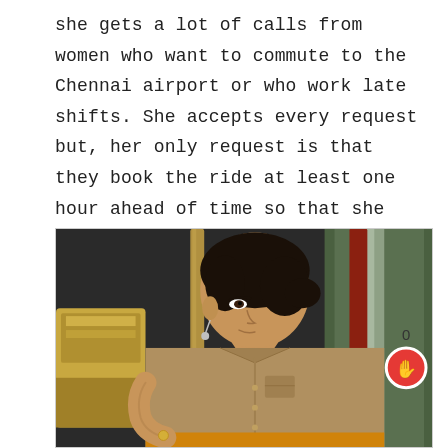she gets a lot of calls from women who want to commute to the Chennai airport or who work late shifts. She accepts every request but, her only request is that they book the ride at least one hour ahead of time so that she can accommodate them.
[Figure (photo): A woman in a khaki uniform shirt sitting inside an auto-rickshaw, looking to her side. The interior of the vehicle is visible with mechanical parts and a transparent plastic side curtain. A red hand/clap icon and the number 0 are overlaid on the right edge of the image.]